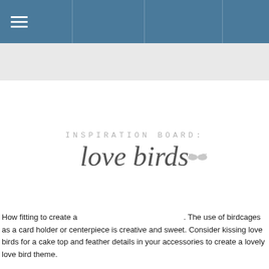Navigation bar with hamburger menu
INSPIRATION BOARD: love birds
How fitting to create a . The use of birdcages as a card holder or centerpiece is creative and sweet. Consider kissing love birds for a cake top and feather details in your accessories to create a lovely love bird theme.